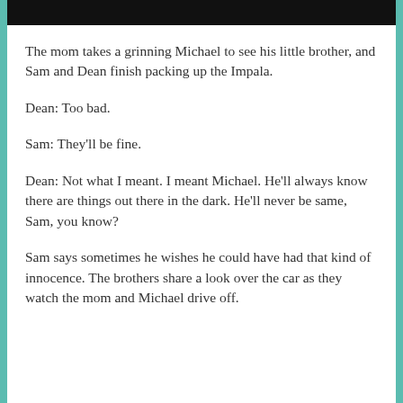[Figure (photo): Dark horizontal image bar at the top of the page, appears to be a cropped photograph.]
The mom takes a grinning Michael to see his little brother, and Sam and Dean finish packing up the Impala.
Dean: Too bad.
Sam: They'll be fine.
Dean: Not what I meant. I meant Michael. He'll always know there are things out there in the dark. He'll never be same, Sam, you know?
Sam says sometimes he wishes he could have had that kind of innocence. The brothers share a look over the car as they watch the mom and Michael drive off.